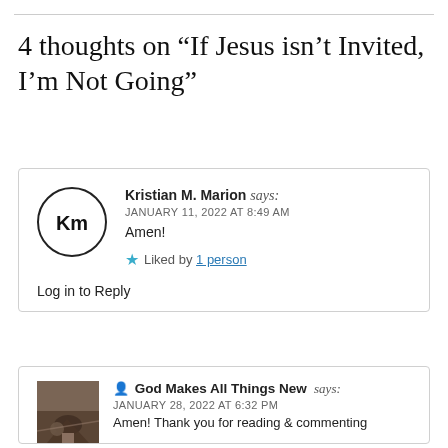4 thoughts on “If Jesus isn’t Invited, I’m Not Going”
Kristian M. Marion says: JANUARY 11, 2022 AT 8:49 AM Amen! Liked by 1 person Log in to Reply
God Makes All Things New says: JANUARY 28, 2022 AT 6:32 PM Amen! Thank you for reading & commenting Kristian!! 😊